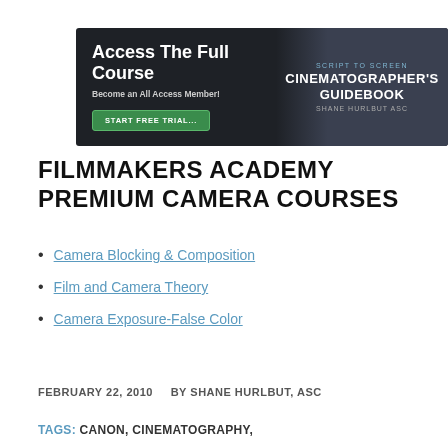[Figure (infographic): Dark banner ad for Filmmakers Academy. Left side shows 'Access The Full Course - Become an All Access Member!' with a green 'START FREE TRIAL...' button on dark background. Right side shows 'SCRIPT TO SCREEN - CINEMATOGRAPHER'S GUIDEBOOK - SHANE HURLBUT ASC' text overlay with a photo of a person in the background.]
FILMMAKERS ACADEMY PREMIUM CAMERA COURSES
Camera Blocking & Composition
Film and Camera Theory
Camera Exposure-False Color
FEBRUARY 22, 2010    BY SHANE HURLBUT, ASC
TAGS: CANON, CINEMATOGRAPHY,